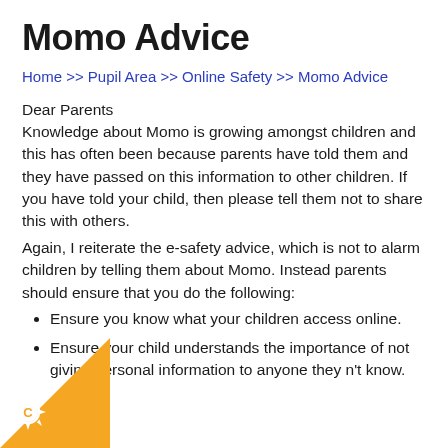Momo Advice
Home >> Pupil Area >> Online Safety >> Momo Advice
Dear Parents
Knowledge about Momo is growing amongst children and this has often been because parents have told them and they have passed on this information to other children. If you have told your child, then please tell them not to share this with others.
Again, I reiterate the e-safety advice, which is not to alarm children by telling them about Momo. Instead parents should ensure that you do the following:
Ensure you know what your children access online.
Ensure your child understands the importance of not giving personal information to anyone they don't know.